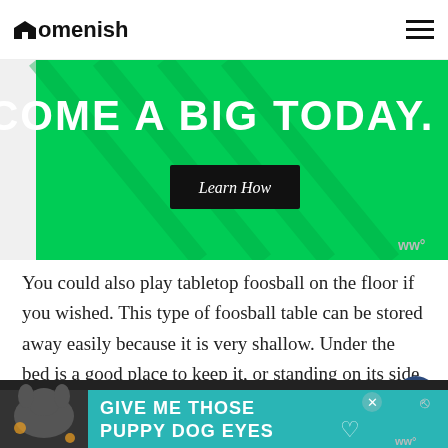Homenish
[Figure (photo): Advertisement banner: 'BECOME A BIG TODAY.' with 'Learn How' button, Big Brothers Big Sisters of America logo on green background]
You could also play tabletop foosball on the floor if you wished. This type of foosball table can be stored away easily because it is very shallow. Under the bed is a good place to keep it, or standing on its side in a cupboard.
Mini Foosball Table Size
[Figure (photo): Advertisement banner at bottom: 'GIVE ME THOSE PUPPY DOG EYES' with dog image on teal/dark background]